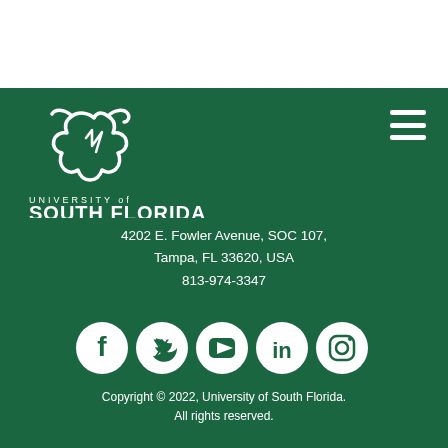[Figure (logo): University of South Florida logo — bull head icon above UNIVERSITY of SOUTH FLORIDA text, white on green background]
4202 E. Fowler Avenue, SOC 107,
Tampa, FL 33620, USA
813-974-3347
[Figure (infographic): Social media icons row: Facebook, Twitter, YouTube, LinkedIn, Instagram — white circular icons]
Copyright © 2022, University of South Florida.
All rights reserved.